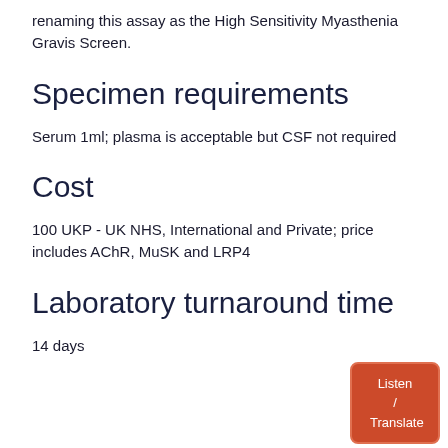renaming this assay as the High Sensitivity Myasthenia Gravis Screen.
Specimen requirements
Serum 1ml; plasma is acceptable but CSF not required
Cost
100 UKP - UK NHS, International and Private; price includes AChR, MuSK and LRP4
Laboratory turnaround time
14 days